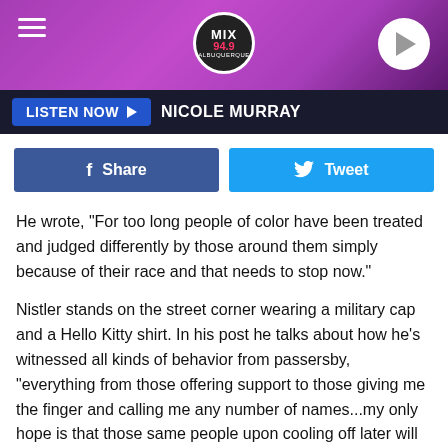[Figure (screenshot): Radio station header banner with pink/purple concert crowd background, hamburger menu icon on left, MIX 94.9 logo in center circle, play button on right]
LISTEN NOW  NICOLE MURRAY
[Figure (screenshot): Social sharing buttons: blue Facebook Share button and cyan Twitter Tweet button]
He wrote, "For too long people of color have been treated and judged differently by those around them simply because of their race and that needs to stop now."
Nistler stands on the street corner wearing a military cap and a Hello Kitty shirt. In his post he talks about how he's witnessed all kinds of behavior from passersby, "everything from those offering support to those giving me the finger and calling me any number of names...my only hope is that those same people upon cooling off later will stop and think 'which part of that sign makes me angry and why?' "